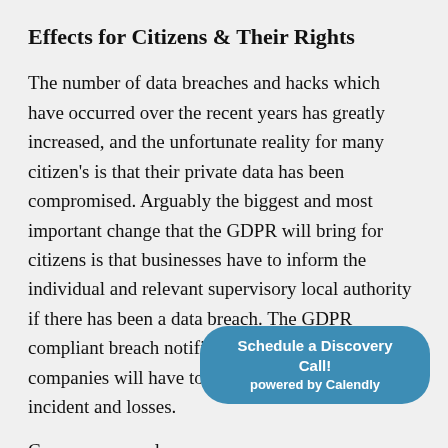Effects for Citizens & Their Rights
The number of data breaches and hacks which have occurred over the recent years has greatly increased, and the unfortunate reality for many citizen's is that their private data has been compromised. Arguably the biggest and most important change that the GDPR will bring for citizens is that businesses have to inform the individual and relevant supervisory local authority if there has been a data breach. The GDPR compliant breach notificaton, means that companies will have to report details of the incident and losses.
Consumers are also p... own data in terms of how it is processed, with
[Figure (other): Calendly scheduling button overlay: 'Schedule a Discovery Call! powered by Calendly' in a teal rounded rectangle button]